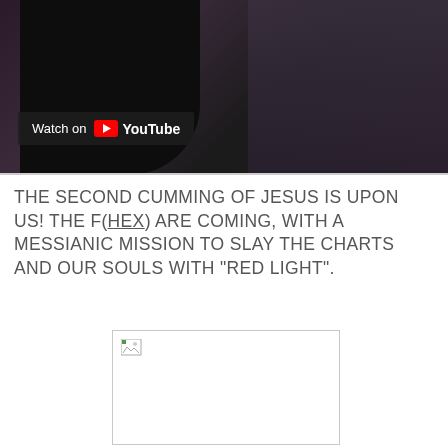[Figure (screenshot): YouTube video thumbnail showing a person with dark hair and decorative background, with a 'Watch on YouTube' overlay badge at the bottom left]
THE SECOND CUMMING OF JESUS IS UPON US! THE F(HEX) ARE COMING, WITH A MESSIANIC MISSION TO SLAY THE CHARTS AND OUR SOULS WITH "RED LIGHT".
[Figure (photo): Broken/missing image placeholder with a small icon in top-left corner, shown as a white rectangle with a thin gray border]